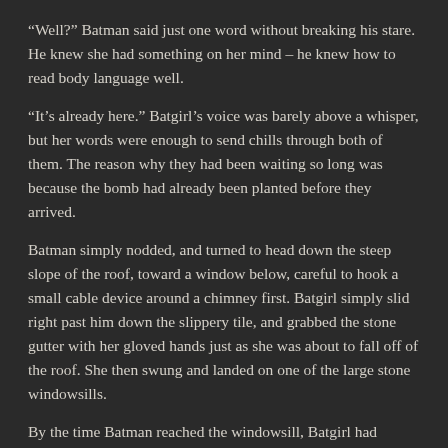“Well?” Batman said just one word without breaking his stare. He knew she had something on her mind – he knew how to read body language well.
“It’s already here.” Batgirl’s voice was barely above a whisper, but her words were enough to send chills through both of them. The reason why they had been waiting so long was because the bomb had already been planted before they arrived.
Batman simply nodded, and turned to head down the steep slope of the roof, toward a window below, careful to hook a small cable device around a chimney first. Batgirl simply slid right past him down the slippery tile, and grabbed the stone gutter with her gloved hands just as she was about to fall off of the roof. She then swung and landed on one of the large stone windowsills.
By the time Batman reached the windowsill, Batgirl had already opened the window and was climbing inside. He hoped that she had checked for security systems before entering – but he had faith that she would have thought of it.
“We’ll start in the basement. And no more showing off.”